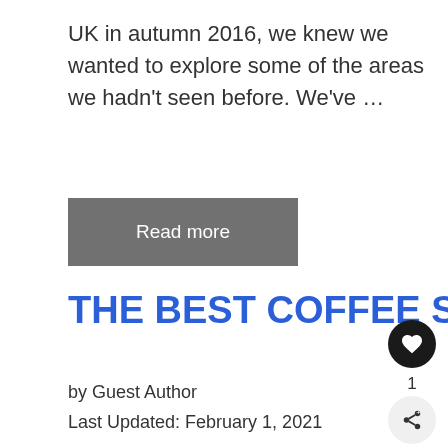UK in autumn 2016, we knew we wanted to explore some of the areas we hadn't seen before. We've ...
Read more
THE BEST COFFEE SHOPS IN BATH, UK
by Guest Author
Last Updated: February 1, 2021